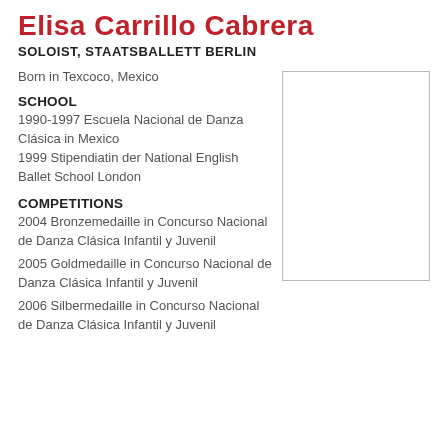Elisa Carrillo Cabrera
SOLOIST, STAATSBALLETT BERLIN
Born in Texcoco, Mexico
[Figure (photo): Portrait photo placeholder (empty white box with border)]
SCHOOL
1990-1997 Escuela Nacional de Danza Clásica in Mexico
1999 Stipendiatin der National English Ballet School London
COMPETITIONS
2004 Bronzemedaille in Concurso Nacional de Danza Clásica Infantil y Juvenil
2005 Goldmedaille in Concurso Nacional de Danza Clásica Infantil y Juvenil
2006 Silbermedaille in Concurso Nacional de Danza Clásica Infantil y Juvenil